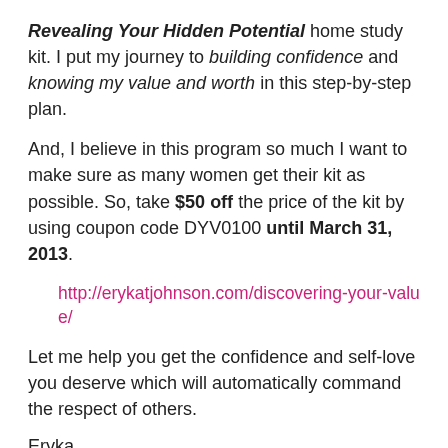Revealing Your Hidden Potential home study kit. I put my journey to building confidence and knowing my value and worth in this step-by-step plan.
And, I believe in this program so much I want to make sure as many women get their kit as possible. So, take $50 off the price of the kit by using coupon code DYV0100 until March 31, 2013.
http://erykatjohnson.com/discovering-your-value/
Let me help you get the confidence and self-love you deserve which will automatically command the respect of others.
Eryka
[Figure (photo): Portrait photo of Eryka Johnson, a woman with shoulder-length dark hair, smiling, shown from shoulders up]
Comments